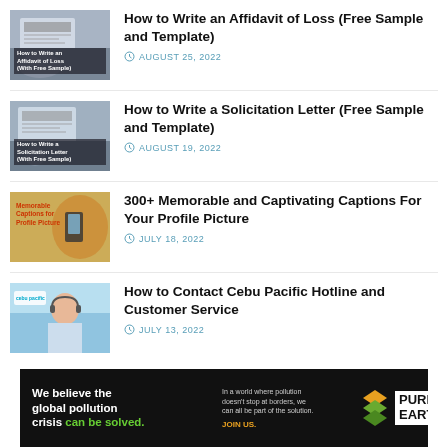[Figure (photo): Thumbnail for Affidavit of Loss article showing hands on keyboard with overlay text]
How to Write an Affidavit of Loss (Free Sample and Template)
AUGUST 25, 2022
[Figure (photo): Thumbnail for Solicitation Letter article showing hands on keyboard with overlay text]
How to Write a Solicitation Letter (Free Sample and Template)
AUGUST 19, 2022
[Figure (photo): Thumbnail for Captions article showing person using phone with orange/red text overlay]
300+ Memorable and Captivating Captions For Your Profile Picture
JULY 18, 2022
[Figure (photo): Thumbnail for Cebu Pacific article showing customer service representative with headset]
How to Contact Cebu Pacific Hotline and Customer Service
JULY 13, 2022
[Figure (infographic): Pure Earth advertisement banner: We believe the global pollution crisis can be solved. In a world where pollution doesn't stop at borders, we can all be part of the solution. JOIN US. Pure Earth logo.]